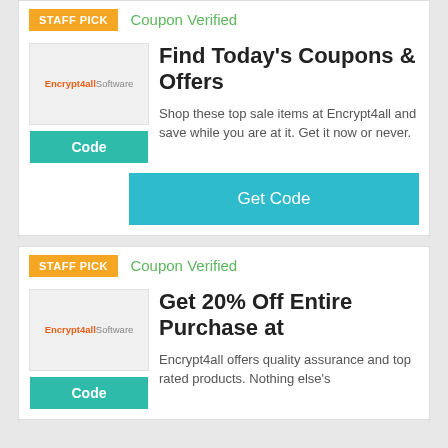STAFF PICK
Coupon Verified
Find Today's Coupons & Offers
[Figure (logo): Encrypt4allSoftware logo on grey background]
Code
Shop these top sale items at Encrypt4all and save while you are at it. Get it now or never.
Get Code
STAFF PICK
Coupon Verified
Get 20% Off Entire Purchase at
[Figure (logo): Encrypt4allSoftware logo on grey background]
Code
Encrypt4all offers quality assurance and top rated products. Nothing else's